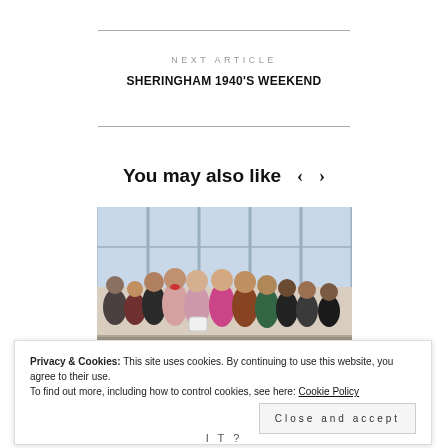NEXT ARTICLE
SHERINGHAM 1940'S WEEKEND
You may also like
[Figure (photo): A crowd of young people in a large indoor space, likely waiting in a queue or gathered at an event. Several women are visible in the foreground.]
Privacy & Cookies: This site uses cookies. By continuing to use this website, you agree to their use.
To find out more, including how to control cookies, see here: Cookie Policy
Close and accept
I T ?